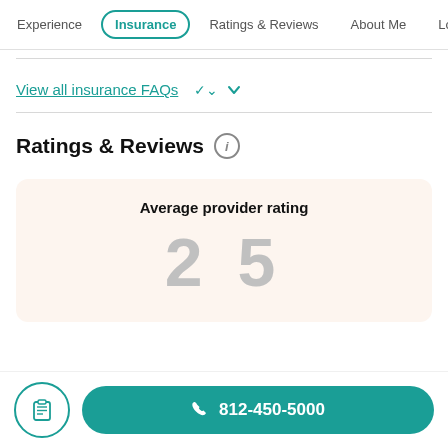Experience | Insurance | Ratings & Reviews | About Me | Loc
View all insurance FAQs ∨
Ratings & Reviews ⓘ
Average provider rating
2 5
812-450-5000